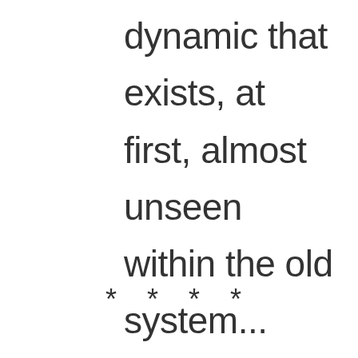dynamic that exists, at first, almost unseen within the old system...
* * * *